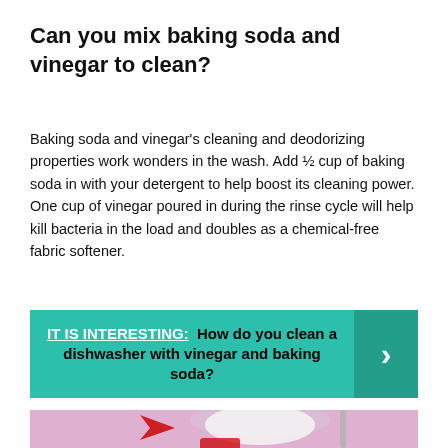Can you mix baking soda and vinegar to clean?
Baking soda and vinegar's cleaning and deodorizing properties work wonders in the wash. Add ½ cup of baking soda in with your detergent to help boost its cleaning power. One cup of vinegar poured in during the rinse cycle will help kill bacteria in the load and doubles as a chemical-free fabric softener.
IT IS INTERESTING:  How do you clean a dishwasher with vinegar and baking soda?
[Figure (photo): Top-down photo of a glass bowl with white baking soda paste and a spoon, on a pink surface, with a red arrow pointing to the mixture and a red play button icon at the bottom.]